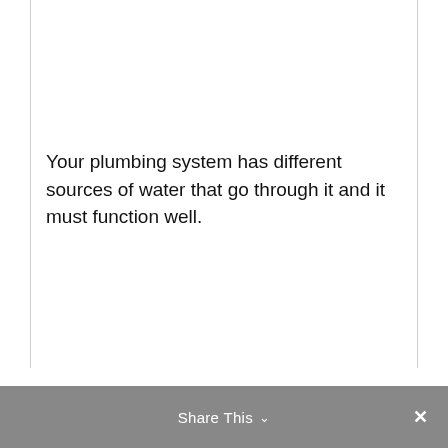Your plumbing system has different sources of water that go through it and it must function well.
Share This ∨ ✕